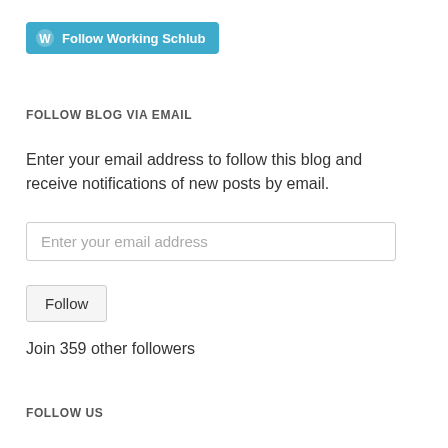[Figure (other): WordPress Follow button widget — teal/blue rounded button with WordPress logo icon and text 'Follow Working Schlub']
FOLLOW BLOG VIA EMAIL
Enter your email address to follow this blog and receive notifications of new posts by email.
Enter your email address
Follow
Join 359 other followers
FOLLOW US